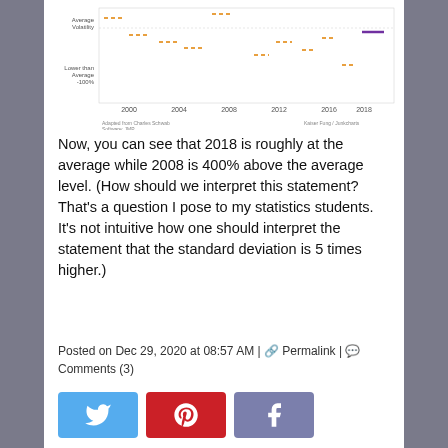[Figure (continuous-plot): Line chart showing volatility over time from 1998 to 2019, with y-axis labels 'Average Volatility' and 'Lower than Average -100%', x-axis showing years 2000, 2004, 2008, 2012, 2016, 2018. Dashed orange lines and a purple line near 2018. Caption at bottom: 'Adapted from Charles Schwab, Software: JMP' and 'Kaiser Fung / Junkcharts']
Now, you can see that 2018 is roughly at the average while 2008 is 400% above the average level. (How should we interpret this statement? That's a question I pose to my statistics students. It's not intuitive how one should interpret the statement that the standard deviation is 5 times higher.)
Posted on Dec 29, 2020 at 08:57 AM | Permalink | Comments (3)